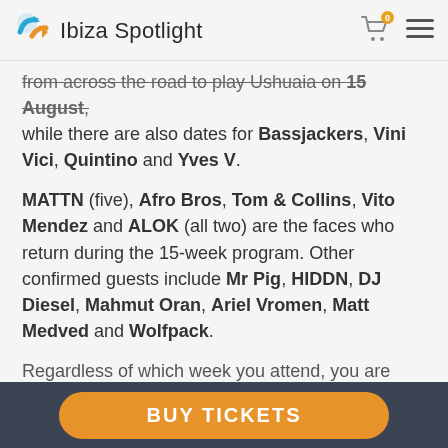Ibiza Spotlight
from across the road to play Ushuaia on 15 August, while there are also dates for Bassjackers, Vini Vici, Quintino and Yves V.
MATTN (five), Afro Bros, Tom & Collins, Vito Mendez and ALOK (all two) are the faces who return during the 15-week program. Other confirmed guests include Mr Pig, HIDDN, DJ Diesel, Mahmut Oran, Ariel Vromen, Matt Medved and Wolfpack.
Regardless of which week you attend, you are guaranteed a heavyweight line-up with plenty of pyros, ticker tape explosions and animatronic puppets as
BUY TICKETS